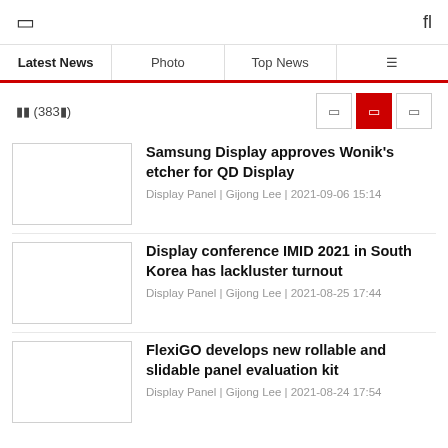☰  fl
Latest News | Photo | Top News | |||
전체 (3830) — view toggle buttons
Samsung Display approves Wonik's etcher for QD Display
Display Panel | Gijong Lee | 2021-09-06 15:14
Display conference IMID 2021 in South Korea has lackluster turnout
Display Panel | Gijong Lee | 2021-08-25 17:44
FlexiGO develops new rollable and slidable panel evaluation kit
Display Panel | Gijong Lee | 2021-08-24 17:54